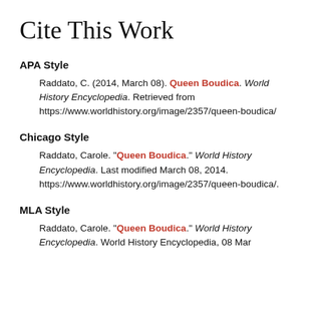Cite This Work
APA Style
Raddato, C. (2014, March 08). Queen Boudica. World History Encyclopedia. Retrieved from https://www.worldhistory.org/image/2357/queen-boudica/
Chicago Style
Raddato, Carole. "Queen Boudica." World History Encyclopedia. Last modified March 08, 2014. https://www.worldhistory.org/image/2357/queen-boudica/.
MLA Style
Raddato, Carole. "Queen Boudica." World History Encyclopedia. World History Encyclopedia, 08 Mar